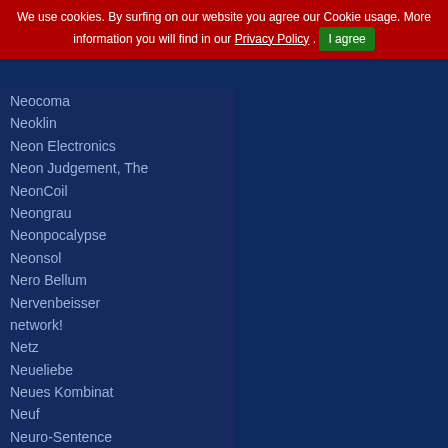We use cookies. By surfing on our website you agree our Cookie usage. More information you will find in our Privacy Policy . I agree
Neocoma
Neoklin
Neon Electronics
Neon Judgement, The
NeonCoil
Neongrau
Neonpocalypse
Neonsol
Nero Bellum
Nervenbeisser
network!
Netz
Neueliebe
Neues Kombinat
Neuf
Neuro-Sentence
Neuroactive
Neuropa
NeuroRythm
Neuroticfish
Neuton Mouse
Neutral Lies
Neuvision